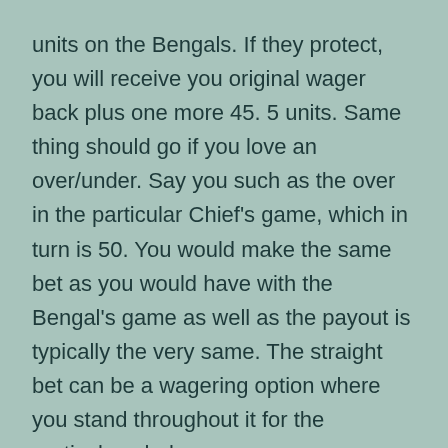units on the Bengals. If they protect, you will receive you original wager back plus one more 45. 5 units. Same thing should go if you love an over/under. Say you such as the over in the particular Chief's game, which in turn is 50. You would make the same bet as you would have with the Bengal's game as well as the payout is typically the very same. The straight bet can be a wagering option where you stand throughout it for the particular whole season.
This specific isn't the largest moneymaker bet textbooks have to offer. This is usually a bet